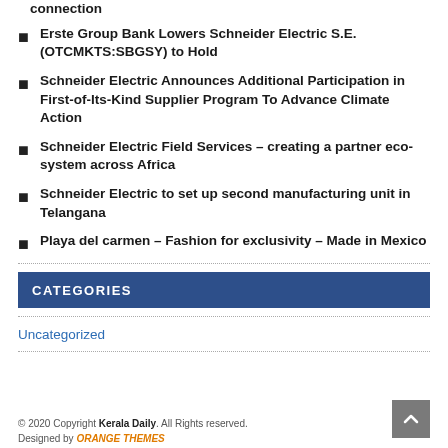connection
Erste Group Bank Lowers Schneider Electric S.E. (OTCMKTS:SBGSY) to Hold
Schneider Electric Announces Additional Participation in First-of-Its-Kind Supplier Program To Advance Climate Action
Schneider Electric Field Services – creating a partner eco-system across Africa
Schneider Electric to set up second manufacturing unit in Telangana
Playa del carmen – Fashion for exclusivity – Made in Mexico
CATEGORIES
Uncategorized
© 2020 Copyright Kerala Daily. All Rights reserved. Designed by ORANGE THEMES